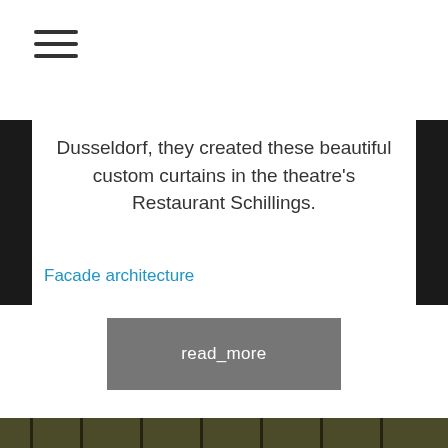[Figure (other): Hamburger/navigation menu icon with three horizontal lines]
Dusseldorf, they created these beautiful custom curtains in the theatre's Restaurant Schillings.
Facade architecture
read_more
[Figure (photo): Interior photo showing vertical translucent curtains with yellow and blue lighting, architectural interior of Restaurant Schillings theatre, with a logo visible in the lower right corner reading 'schau']